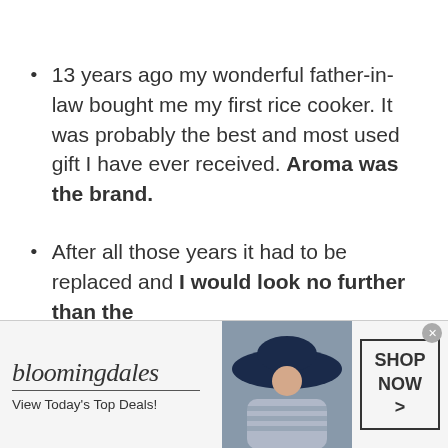13 years ago my wonderful father-in-law bought me my first rice cooker. It was probably the best and most used gift I have ever received. Aroma was the brand.
After all those years it had to be replaced and I would look no further than the
[Figure (screenshot): Bloomingdale's advertisement banner: logo with 'bloomingdales' text, underline, 'View Today's Top Deals!' tagline, woman wearing a large hat, and a 'SHOP NOW >' button box.]